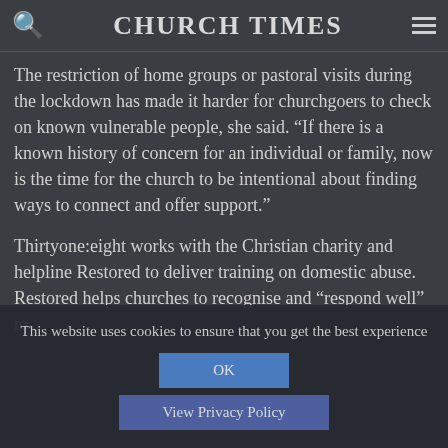CHURCH TIMES
The restriction of home groups or pastoral visits during the lockdown has made it harder for churchgoers to check on known vulnerable people, she said. “If there is a known history of concern for an individual or family, now is the time for the church to be intentional about finding ways to connect and offer support.”
Thirtyone:eight works with the Christian charity and helpline Restored to deliver training on domestic abuse. Restored helps churches to recognise and “respond well” to
This website uses cookies to ensure that you get the best experience
OK
View Privacy Policy